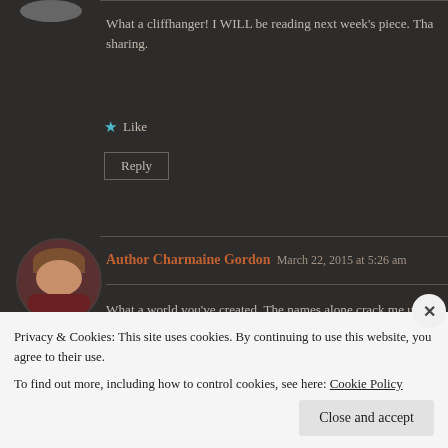What a cliffhanger! I WILL be reading next week's piece. Tha… sharing.
Like
Reply
Author Charmaine Gordon   March 22, 2015 at 5:26 am
What a world you've created. The names alone crack me up a… humor in the last line. I'm with Eli. HELP!
Privacy & Cookies: This site uses cookies. By continuing to use this website, you agree to their use.
To find out more, including how to control cookies, see here: Cookie Policy
Close and accept